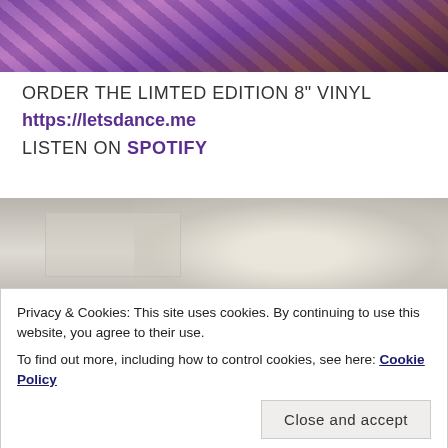[Figure (photo): Top portion of a webpage showing a photo of vinyl records or music-related items with purple/pink tones and dark background]
ORDER THE LIMTED EDITION 8" VINYL
https://letsdance.me
LISTEN ON SPOTIFY
[Figure (photo): Photo of a room interior with a white paper lantern lamp shade hanging from ceiling]
Privacy & Cookies: This site uses cookies. By continuing to use this website, you agree to their use.
To find out more, including how to control cookies, see here: Cookie Policy
Close and accept
[Figure (photo): Bottom portion of a photo showing colorful items]